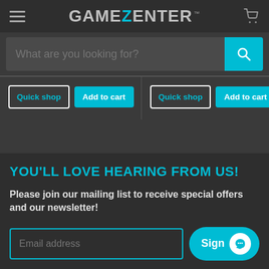GAMEZENTER
What are you looking for?
Quick shop | Add to cart | Quick shop | Add to cart
YOU'LL LOVE HEARING FROM US!
Please join our mailing list to receive special offers and our newsletter!
Email address | Sign